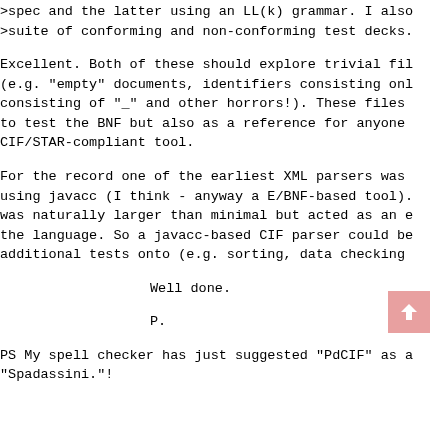>spec and the latter using an LL(k) grammar. I also
>suite of conforming and non-conforming test decks.
Excellent. Both of these should explore trivial fil
(e.g. "empty" documents, identifiers consisting onl
consisting of "_" and other horrors!). These files
to test the BNF but also as a reference for anyone
CIF/STAR-compliant tool.
For the record one of the earliest XML parsers was
using javacc (I think - anyway a E/BNF-based tool).
was naturally larger than minimal but acted as an e
the language. So a javacc-based CIF parser could be
additional tests onto (e.g. sorting, data checking
Well done.
P.
PS My spell checker has just suggested "PdCIF" as a
"Spadassini."!